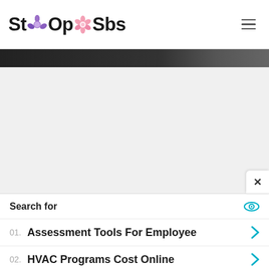[Figure (logo): StOOpOSbs logo with purple and pink flower icons between letters, bold black text]
[Figure (photo): Dark/black photo strip at top of content area, appears to be a partially visible image]
Search for
01. Assessment Tools For Employee
02. HVAC Programs Cost Online
Yahoo! Search | Sponsored